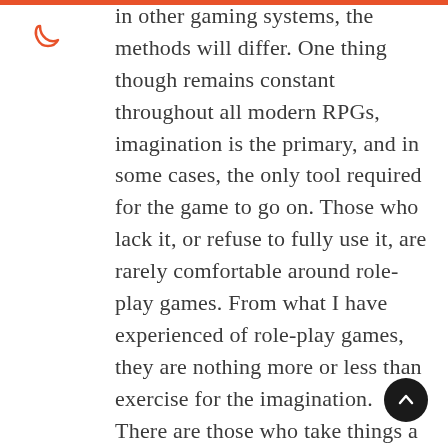in other gaming systems, the methods will differ. One thing though remains constant throughout all modern RPGs, imagination is the primary, and in some cases, the only tool required for the game to go on. Those who lack it, or refuse to fully use it, are rarely comfortable around role-play games. From what I have experienced of role-play games, they are nothing more or less than exercise for the imagination. There are those who take things a little too far, and cause problem for the rest, but on the whole, RPGs and role-players themselves, are not evil. If you remember that it is only a game, it is so much easier to deal with and you will